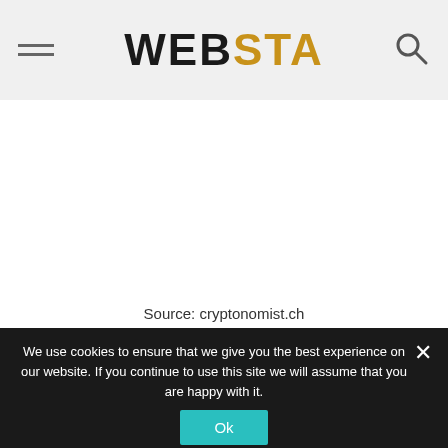WEBSTA
Source: cryptonomist.ch
We use cookies to ensure that we give you the best experience on our website. If you continue to use this site we will assume that you are happy with it.